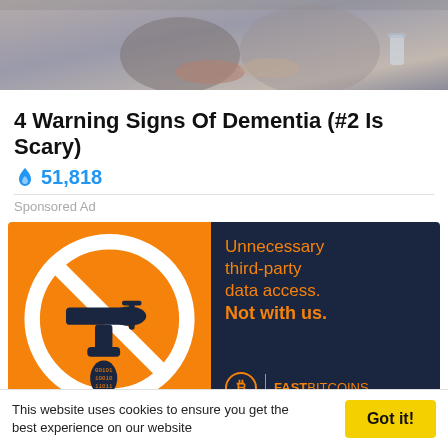[Figure (photo): Photograph of two people, appearing to be an elderly patient and a caregiver, in a muted indoor setting.]
4 Warning Signs Of Dementia (#2 Is Scary)
🔥 51,818
Sponsored Ad
[Figure (infographic): FastBitcoins advertisement banner. Left side: orange background with a no-symbol (circle with diagonal line) over a dark faucet dripping binary code. Right side: dark navy background with orange text reading 'Unnecessary third-party data access. Not with us.' and the FastBitcoins logo at the bottom.]
This website uses cookies to ensure you get the best experience on our website